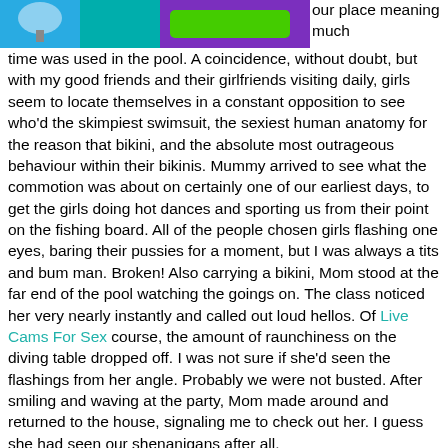[Figure (illustration): Partial top image showing illustration with purple/blue/teal colors and a green button, cropped at the top of the page]
our place meaning much time was used in the pool. A coincidence, without doubt, but with my good friends and their girlfriends visiting daily, girls seem to locate themselves in a constant opposition to see who'd the skimpiest swimsuit, the sexiest human anatomy for the reason that bikini, and the absolute most outrageous behaviour within their bikinis. Mummy arrived to see what the commotion was about on certainly one of our earliest days, to get the girls doing hot dances and sporting us from their point on the fishing board. All of the people chosen girls flashing one eyes, baring their pussies for a moment, but I was always a tits and bum man. Broken! Also carrying a bikini, Mom stood at the far end of the pool watching the goings on. The class noticed her very nearly instantly and called out loud hellos. Of Live Cams For Sex course, the amount of raunchiness on the diving table dropped off. I was not sure if she'd seen the flashings from her angle. Probably we were not busted. After smiling and waving at the party, Mom made around and returned to the house, signaling me to check out her. I guess she had seen our shenanigans after all.